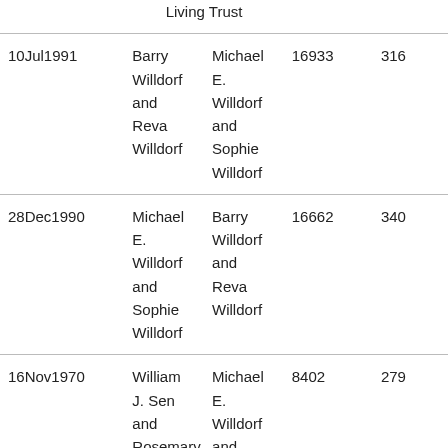| Date | Grantor | Grantee | Book | Page |
| --- | --- | --- | --- | --- |
|  | Living Trust |  |  |  |
| 10Jul1991 | Barry Willdorf and Reva Willdorf | Michael E. Willdorf and Sophie Willdorf | 16933 | 316 |
| 28Dec1990 | Michael E. Willdorf and Sophie Willdorf | Barry Willdorf and Reva Willdorf | 16662 | 340 |
| 16Nov1970 | William J. Sen and Rosemary E. Sen, husband | Michael E. Willdorf and Sophie Willdorf, husband | 8402 | 279 |